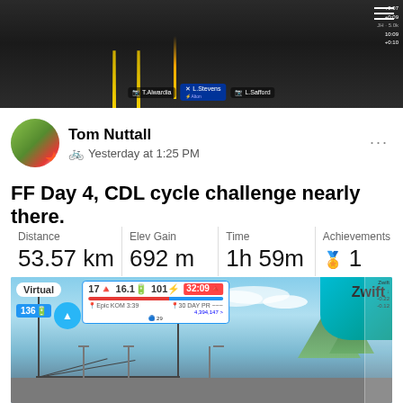[Figure (screenshot): Zwift virtual cycling game screenshot showing dark road with yellow center lines and player name tags including L.Stevens]
Tom Nuttall
Yesterday at 1:25 PM
FF Day 4, CDL cycle challenge nearly there.
| Distance | Elev Gain | Time | Achievements |
| --- | --- | --- | --- |
| 53.57 km | 692 m | 1h 59m | 🏅 1 |
[Figure (screenshot): Zwift virtual cycling game screenshot showing bridge scene with HUD overlay displaying 17, 16.1, 101, 32:09 metrics and Virtual badge, power 136w, minimap]